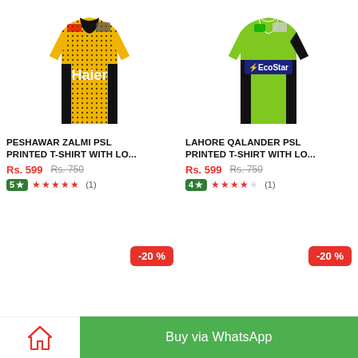[Figure (photo): Peshawar Zalmi PSL yellow and black cricket jersey with Haier branding]
[Figure (photo): Lahore Qalandar PSL lime green and black cricket jersey with EcoStar branding]
PESHAWAR ZALMI PSL PRINTED T-SHIRT WITH LO...
LAHORE QALANDER PSL PRINTED T-SHIRT WITH LO...
Rs. 599   Rs. 750
Rs. 599   Rs. 750
5 ★★★★★ (1)
4 ★★★★☆ (1)
-20 %
-20 %
Buy via WhatsApp